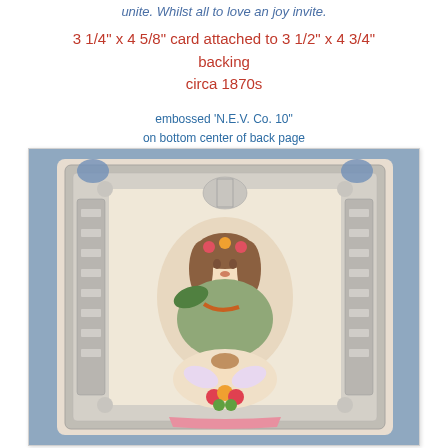unite. Whilst all to love an joy invite.
3 1/4" x 4 5/8" card attached to 3 1/2" x 4 3/4" backing
circa 1870s
embossed 'N.E.V. Co. 10"
on bottom center of back page
[Figure (photo): Victorian valentine card circa 1870s showing a young woman with flowers and a cherub, surrounded by ornate silver embossed lace-like border, mounted on a blue background]